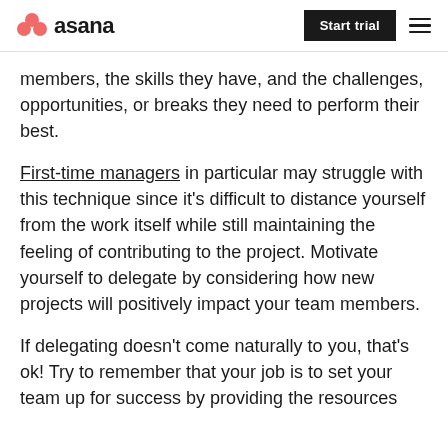asana | Start trial
members, the skills they have, and the challenges, opportunities, or breaks they need to perform their best.
First-time managers in particular may struggle with this technique since it's difficult to distance yourself from the work itself while still maintaining the feeling of contributing to the project. Motivate yourself to delegate by considering how new projects will positively impact your team members.
If delegating doesn't come naturally to you, that's ok! Try to remember that your job is to set your team up for success by providing the resources